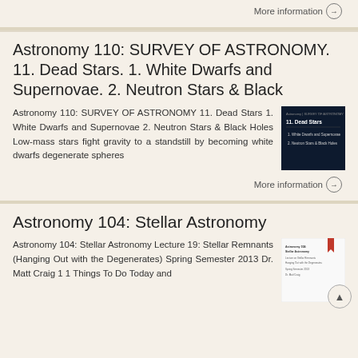More information →
Astronomy 110: SURVEY OF ASTRONOMY. 11. Dead Stars. 1. White Dwarfs and Supernovae. 2. Neutron Stars & Black
Astronomy 110: SURVEY OF ASTRONOMY 11. Dead Stars 1. White Dwarfs and Supernovae 2. Neutron Stars & Black Holes Low-mass stars fight gravity to a standstill by becoming white dwarfs degenerate spheres
[Figure (screenshot): Dark blue/black slide thumbnail showing '11. Dead Stars' with bullet points about White Dwarfs and Neutron Stars]
More information →
Astronomy 104: Stellar Astronomy
Astronomy 104: Stellar Astronomy Lecture 19: Stellar Remnants (Hanging Out with the Degenerates) Spring Semester 2013 Dr. Matt Craig 1 1 Things To Do Today and
[Figure (screenshot): Thumbnail of Astronomy 104 Stellar Astronomy document with red bookmark and scroll-to-top button overlay]